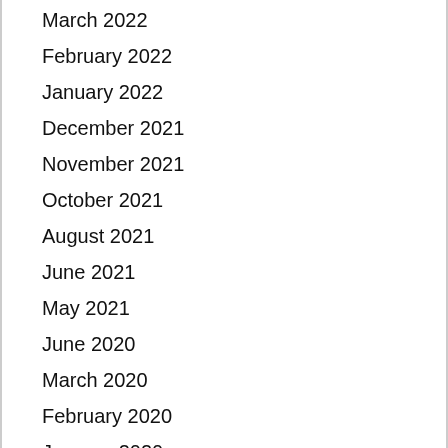March 2022
February 2022
January 2022
December 2021
November 2021
October 2021
August 2021
June 2021
May 2021
June 2020
March 2020
February 2020
January 2020
December 2019